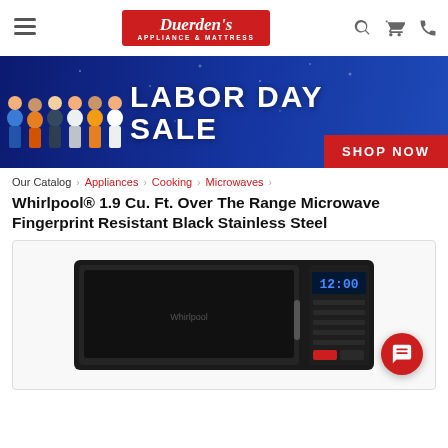Duerden's Appliance & Mattress — navigation header with hamburger menu, logo, search, cart, and phone icons
[Figure (infographic): Labor Day Sale promotional banner with illustrated workers/professionals and 'SHOP NOW' red button on dark blue starry background]
Our Catalog › Appliances › Cooking › Microwaves ›
Whirlpool® 1.9 Cu. Ft. Over The Range Microwave Fingerprint Resistant Black Stainless Steel
[Figure (photo): Product photo of Whirlpool black stainless steel over-the-range microwave with blue digital display showing 12:00, with a red chat button overlay in the bottom right corner]